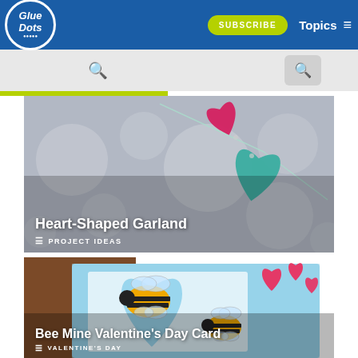[Figure (screenshot): Glue Dots website navigation bar with logo, Subscribe button, Topics menu]
[Figure (photo): Heart-shaped garland craft project with pink and teal paper hearts on string against bokeh background]
Heart-Shaped Garland
PROJECT IDEAS
[Figure (photo): Bee Mine Valentine's Day card with decorative bees and hearts on floral paper background]
Bee Mine Valentine's Day Card
VALENTINE'S DAY